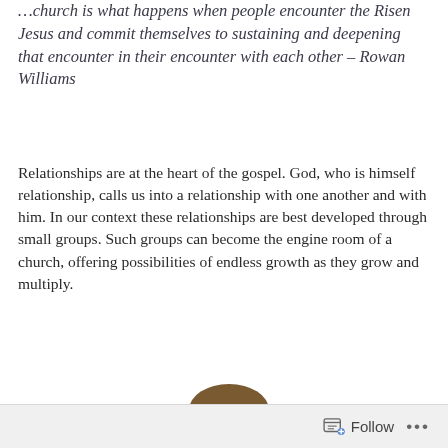...church is what happens when people encounter the Risen Jesus and commit themselves to sustaining and deepening that encounter in their encounter with each other – Rowan Williams
Relationships are at the heart of the gospel. God, who is himself relationship, calls us into a relationship with one another and with him. In our context these relationships are best developed through small groups. Such groups can become the engine room of a church, offering possibilities of endless growth as they grow and multiply.
[Figure (photo): Four smiling young people of diverse ethnicities leaning together in a group, viewed from a slightly overhead angle, with a white background.]
Follow ...